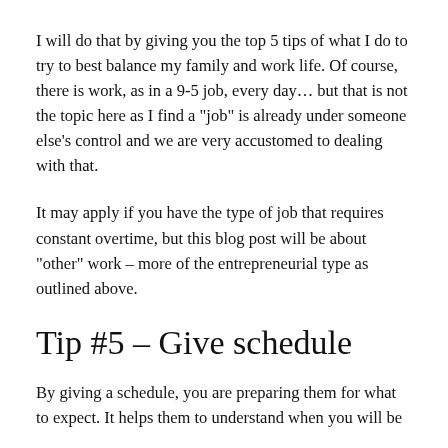I will do that by giving you the top 5 tips of what I do to try to best balance my family and work life. Of course, there is work, as in a 9-5 job, every day… but that is not the topic here as I find a "job" is already under someone else's control and we are very accustomed to dealing with that.
It may apply if you have the type of job that requires constant overtime, but this blog post will be about "other" work – more of the entrepreneurial type as outlined above.
Tip #5 – Give schedule
By giving a schedule, you are preparing them for what to expect. It helps them to understand when you will be